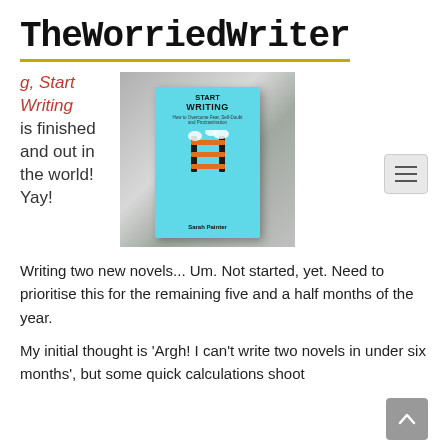TheWorriedWriter
[Figure (photo): Photo of a book titled 'START WRITING - How to Overcome Fear, Self-Doubt and Procrastination' by Sarah Painter, placed on a wooden surface.]
g, Start Writing is finished and out in the world! Yay!
Writing two new novels... Um. Not started, yet. Need to prioritise this for the remaining five and a half months of the year.
My initial thought is 'Argh! I can't write two novels in under six months', but some quick calculations shoot